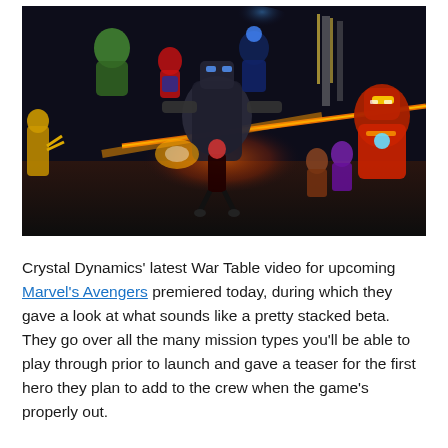[Figure (screenshot): Screenshot from Marvel's Avengers video game showing multiple Marvel superheroes in combat — Iron Man, Hulk, Black Widow, and others fighting against large robotic/mechanical enemies. The scene is dramatic with orange laser beams cutting across a dark futuristic arena environment.]
Crystal Dynamics' latest War Table video for upcoming Marvel's Avengers premiered today, during which they gave a look at what sounds like a pretty stacked beta. They go over all the many mission types you'll be able to play through prior to launch and gave a teaser for the first hero they plan to add to the crew when the game's properly out.